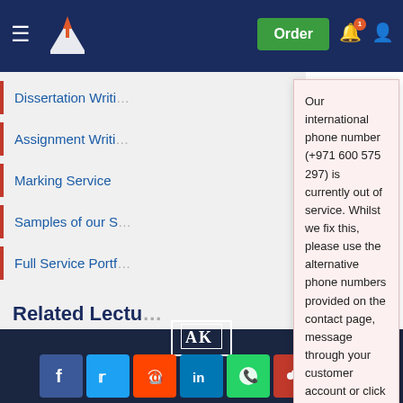UK Essays website header with navigation menu, logo, Order button, notification bell, and user icon
Dissertation Writing
Assignment Writing
Marking Service
Samples of our S
Full Service Portf
Related Lectures
Study for free with
All Available Lectures >
Our international phone number (+971 600 575 297) is currently out of service. Whilst we fix this, please use the alternative phone numbers provided on the contact page, message through your customer account or click the WhatsApp button from your mobile (Monday – Friday 9am – 5pm, Saturday 10am – 6pm UK time).
August 20, 2022
[Figure (logo): AK logo in white border box in footer]
Social media sharing buttons: Facebook, Twitter, Reddit, LinkedIn, WhatsApp, Mendeley, ResearchGate